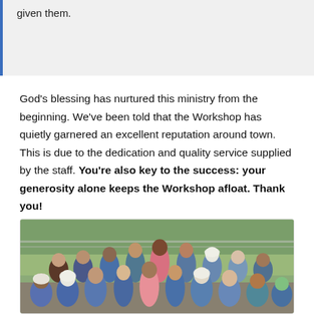given them.
God’s blessing has nurtured this ministry from the beginning. We’ve been told that the Workshop has quietly garnered an excellent reputation around town. This is due to the dedication and quality service supplied by the staff. You’re also key to the success: your generosity alone keeps the Workshop afloat. Thank you!
[Figure (photo): Group photo of approximately 20 people, men and women of various ages and ethnicities, posed together outdoors near a chain-link fence. Several people are wearing blue clothing and white head coverings (habits). One woman in the center is wearing a pink outfit. The photo appears to be from a workshop or ministry setting.]